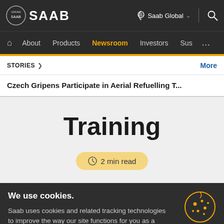SAAB — Saab Global navigation header
About | Products | Newsroom | Investors | Sus | ...
STORIES › More
Czech Gripens Participate in Aerial Refuelling T...
Training
2 min read
We use cookies.
Saab uses cookies and related tracking technologies to improve the way our site functions for you as a visitor.